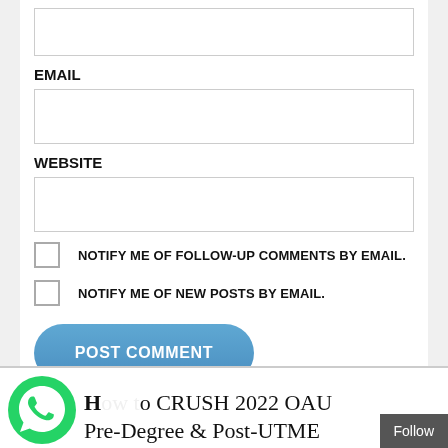EMAIL
WEBSITE
NOTIFY ME OF FOLLOW-UP COMMENTS BY EMAIL.
NOTIFY ME OF NEW POSTS BY EMAIL.
POST COMMENT
How to CRUSH 2022 OAU Pre-Degree & Post-UTME